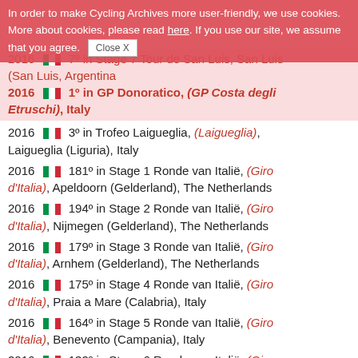Cookie banner: In order to make Cycling Archives more user-friendly, we use cookies. More about cookies, please read here. If you use our site, we assume that you agree. [Close X]
2016 [Italy] 7º in Stage 7 Tour de San Luis, San Luis (San Luis, Argentina) [partially visible at top]
2016 [Italy] 1º in GP Donoratico, (GP Costa degli Etruschi), Italy
2016 [Italy] 3º in Trofeo Laigueglia, (Laigueglia), Laigueglia (Liguria), Italy
2016 [Italy] 181º in Stage 1 Ronde van Italië, (Giro d'Italia), Apeldoorn (Gelderland), The Netherlands
2016 [Italy] 194º in Stage 2 Ronde van Italië, (Giro d'Italia), Nijmegen (Gelderland), The Netherlands
2016 [Italy] 179º in Stage 3 Ronde van Italië, (Giro d'Italia), Arnhem (Gelderland), The Netherlands
2016 [Italy] 175º in Stage 4 Ronde van Italië, (Giro d'Italia), Praia a Mare (Calabria), Italy
2016 [Italy] 164º in Stage 5 Ronde van Italië, (Giro d'Italia), Benevento (Campania), Italy
2016 [Italy] 132º in Stage 6 Ronde van Italië, (Giro d'Italia), Roccaraso (Abruzzi), Italy
2016 [Italy] 182º in Stage 7 Ronde van Italië, (Giro d'Italia), Foligno (Umbria), Italy
2016 [Italy] 181º in Stage 8 Ronde van Italië, (Giro d'Italia), Arezzo (Liguria), Italy